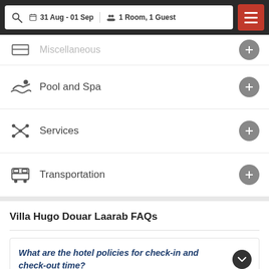31 Aug - 01 Sep  1 Room, 1 Guest
Pool and Spa
Services
Transportation
Villa Hugo Douar Laarab FAQs
What are the hotel policies for check-in and check-out time?
Search Rooms